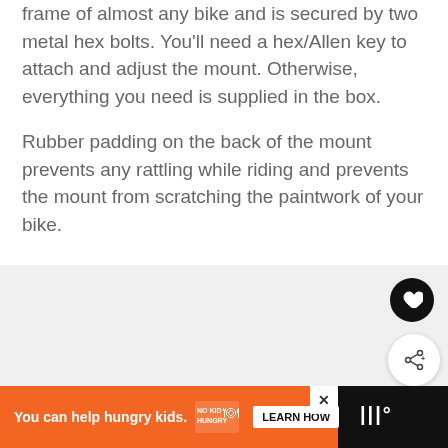frame of almost any bike and is secured by two metal hex bolts. You'll need a hex/Allen key to attach and adjust the mount. Otherwise, everything you need is supplied in the box.
Rubber padding on the back of the mount prevents any rattling while riding and prevents the mount from scratching the paintwork of your bike.
[Figure (screenshot): Gray image area with heart/favorite button (black circle), share button (white circle), and a 'What's Next' card showing Oxford Alarm-D Pro Revie... with a dark thumbnail image]
[Figure (screenshot): Bottom advertisement bar: orange section with 'You can help hungry kids.' No Kid Hungry logo and LEARN HOW button, close X button, and right side dark section with logo on black background]